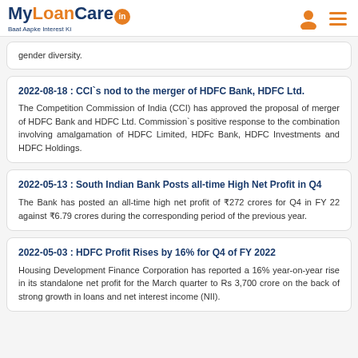MyLoanCare.in — Baat Aapke Interest Ki
gender diversity.
2022-08-18 : CCI`s nod to the merger of HDFC Bank, HDFC Ltd.
The Competition Commission of India (CCI) has approved the proposal of merger of HDFC Bank and HDFC Ltd. Commission`s positive response to the combination involving amalgamation of HDFC Limited, HDFc Bank, HDFC Investments and HDFC Holdings.
2022-05-13 : South Indian Bank Posts all-time High Net Profit in Q4
The Bank has posted an all-time high net profit of ₹272 crores for Q4 in FY 22 against ₹6.79 crores during the corresponding period of the previous year.
2022-05-03 : HDFC Profit Rises by 16% for Q4 of FY 2022
Housing Development Finance Corporation has reported a 16% year-on-year rise in its standalone net profit for the March quarter to Rs 3,700 crore on the back of strong growth in loans and net interest income (NII).